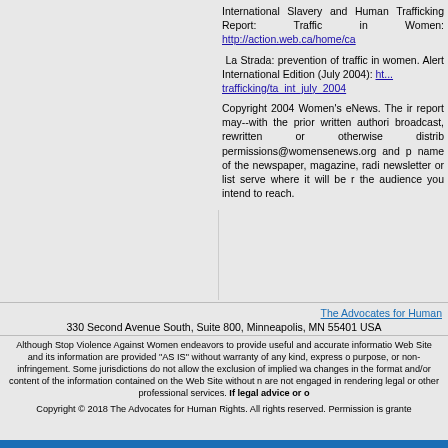International Slavery and Human Trafficking Report: Traffic in Women: http://action.web.ca/home/ca
La Strada: prevention of traffic in women. Alert International Edition (July 2004): http://...trafficking/ta_int_july_2004
Copyright 2004 Women's eNews. The ir report may--with the prior written authori broadcast, rewritten or otherwise distrib permissions@womensenews.org and p name of the newspaper, magazine, radi newsletter or list serve where it will be r the audience you intend to reach.
The Advocates for Human Rights
330 Second Avenue South, Suite 800, Minneapolis, MN 55401 USA
Although Stop Violence Against Women endeavors to provide useful and accurate informati Web Site and its information are provided "AS IS" without warranty of any kind, express o purpose, or non-infringement. Some jurisdictions do not allow the exclusion of implied wa changes in the format and/or content of the information contained on the Web Site without n are not engaged in rendering legal or other professional services. If legal advice or o
Copyright © 2018 The Advocates for Human Rights. All rights reserved. Permission is grante